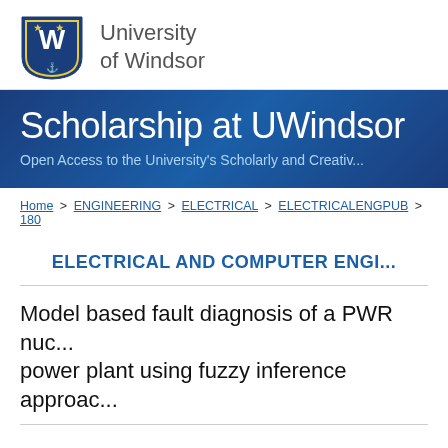[Figure (logo): University of Windsor logo with shield crest and text 'University of Windsor']
Scholarship at UWindsor
Open Access to the University's Scholarly and Creative...
Home > ENGINEERING > ELECTRICAL > ELECTRICALENGPUB > 180
ELECTRICAL AND COMPUTER ENGI...
Model based fault diagnosis of a PWR nuc... power plant using fuzzy inference approac...